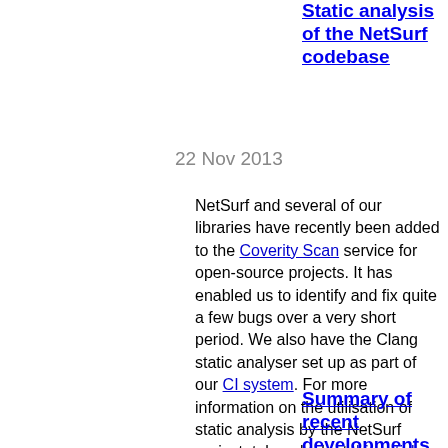Static analysis of the NetSurf codebase
22 Nov 2013
NetSurf and several of our libraries have recently been added to the Coverity Scan service for open-source projects. It has enabled us to identify and fix quite a few bugs over a very short period. We also have the Clang static analyser set up as part of our CI system. For more information on the utilisation of static analysis by the NetSurf project, take a look at this article.
Summary of recent developments